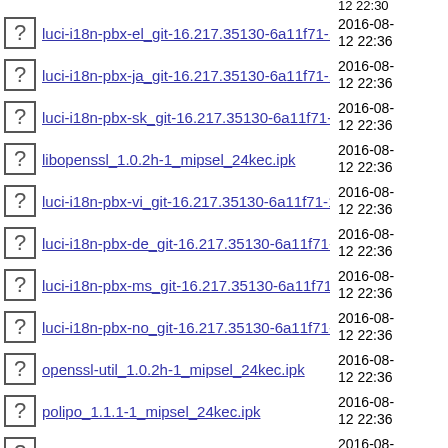luci-i18n-pbx-el_git-16.217.35130-6a11f71-1_all..> 2016-08-12 22:36
luci-i18n-pbx-ja_git-16.217.35130-6a11f71-1_all..> 2016-08-12 22:36
luci-i18n-pbx-sk_git-16.217.35130-6a11f71-1_all..> 2016-08-12 22:36
libopenssl_1.0.2h-1_mipsel_24kec.ipk 2016-08-12 22:36
luci-i18n-pbx-vi_git-16.217.35130-6a11f71-1_all..> 2016-08-12 22:36
luci-i18n-pbx-de_git-16.217.35130-6a11f71-1_all..> 2016-08-12 22:36
luci-i18n-pbx-ms_git-16.217.35130-6a11f71-1_all..> 2016-08-12 22:36
luci-i18n-pbx-no_git-16.217.35130-6a11f71-1_all..> 2016-08-12 22:36
openssl-util_1.0.2h-1_mipsel_24kec.ipk 2016-08-12 22:36
polipo_1.1.1-1_mipsel_24kec.ipk 2016-08-12 22:36
luci-app-shadowsocks-libev_git-16.217.35130-6a1..> 2016-08-12 22:36